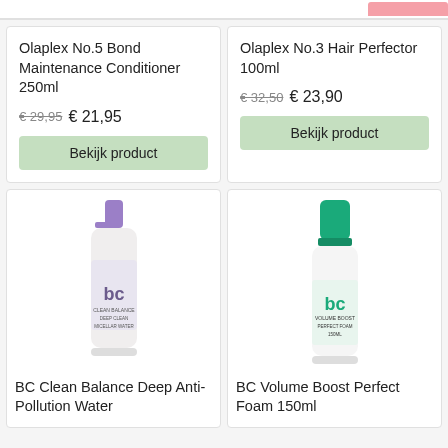Olaplex No.5 Bond Maintenance Conditioner 250ml
€ 29,95  € 21,95
Bekijk product
Olaplex No.3 Hair Perfector 100ml
€ 32,50  € 23,90
Bekijk product
[Figure (photo): BC Clean Balance Deep Anti-Pollution Water spray bottle with purple cap]
BC Clean Balance Deep Anti-Pollution Water
[Figure (photo): BC Volume Boost Perfect Foam 150ml bottle with teal/green cap]
BC Volume Boost Perfect Foam 150ml